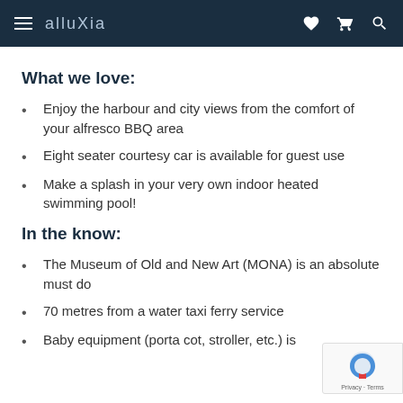alluXia
What we love:
Enjoy the harbour and city views from the comfort of your alfresco BBQ area
Eight seater courtesy car is available for guest use
Make a splash in your very own indoor heated swimming pool!
In the know:
The Museum of Old and New Art (MONA) is an absolute must do
70 metres from a water taxi ferry service
Baby equipment (porta cot, stroller, etc.) is